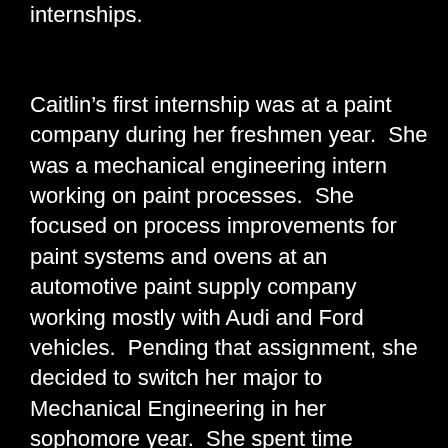internships.
Caitlin's first internship was at a paint company during her freshmen year.  She was a mechanical engineering intern working on paint processes.  She focused on process improvements for paint systems and ovens at an automotive paint supply company working mostly with Audi and Ford vehicles.  Pending that assignment, she decided to switch her major to Mechanical Engineering in her sophomore year.  She spent time researching the types of jobs available for environmental majors versus mechanical majors and realized that she was most interested in the dynamics portion of mechanical engineering.  After her sophomore year, she worked at the John Deere Global Crop Harvesting Product Development Center in Iowa.